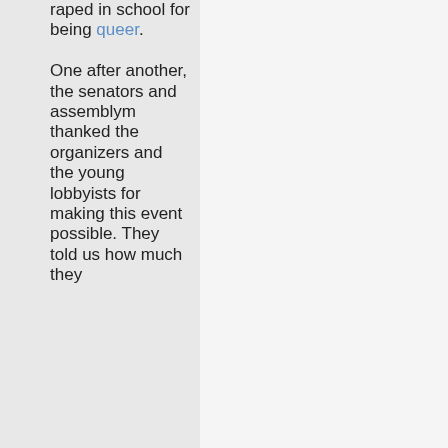raped in school for being queer. One after another, the senators and assemblym thanked the organizers and the young lobbyists for making this event possible. They told us how much they